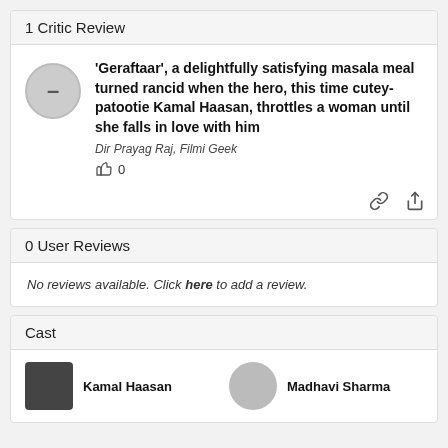1 Critic Review
'Geraftaar', a delightfully satisfying masala meal turned rancid when the hero, this time cutey-patootie Kamal Haasan, throttles a woman until she falls in love with him
Dir Prayag Raj, Filmi Geek
0
0 User Reviews
No reviews available. Click here to add a review.
Cast
Kamal Haasan
Madhavi Sharma